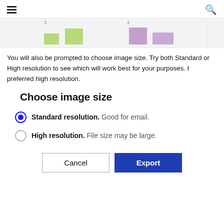☰  🔍
[Figure (screenshot): Partial screenshot of a chart or calendar view showing green and purple colored blocks on a light grey background, cropped at the top of the page.]
You will also be prompted to choose image size. Try both Standard or High resolution to see which will work best for your purposes. I preferred high resolution.
Choose image size
Standard resolution. Good for email.
High resolution. File size may be large.
Cancel  Export